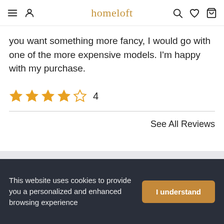homeloft
you want something more fancy, I would go with one of the more expensive models. I'm happy with my purchase.
[Figure (other): Star rating: 4 out of 5 stars with numeric label '4']
See All Reviews
Categories
[Figure (other): Orange circular chat/support icon with speech bubble and ellipsis]
This website uses cookies to provide you a personalized and enhanced browsing experience